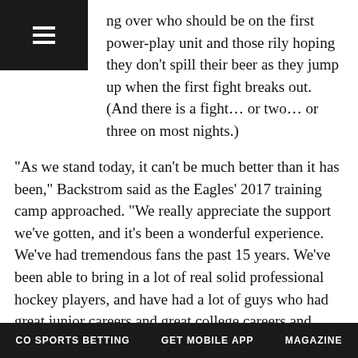ng over who should be on the first power-play unit and those rily hoping they don't spill their beer as they jump up when the first fight breaks out. (And there is a fight… or two… or three on most nights.)
“As we stand today, it can’t be much better than it has been,” Backstrom said as the Eagles’ 2017 training camp approached. “We really appreciate the support we’ve gotten, and it’s been a wonderful experience. We’ve had tremendous fans the past 15 years. We’ve been able to bring in a lot of real solid professional hockey players, and have had a lot of guys who had great junior careers and great college careers and we’re just glad we’ve been able to give them that opportunity to enjoy what professional hockey is all about.”
Backstrom’s résumé is accomplishment-filled. This doesn’t even cover it all, but he played for six Stanley Cup champions at
CO SPORTS BETTING   GET MOBILE APP   MAGAZINE